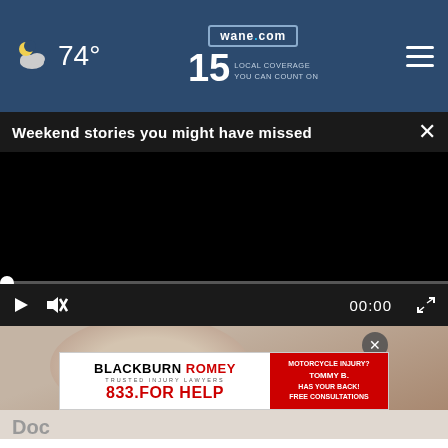74° wane.com 15 LOCAL COVERAGE YOU CAN COUNT ON
Weekend stories you might have missed
[Figure (screenshot): Black video player screen with playback controls, progress bar, mute button, timestamp 00:00, and fullscreen icon]
[Figure (photo): Partial view of a person's head/face, blurred or out of focus, warm skin tones]
[Figure (infographic): Advertisement banner for Blackburn Romey Trusted Injury Lawyers - 833.FOR HELP - Motorcycle Injury? Tommy B. Has Your Back! Free Consultations]
Doc